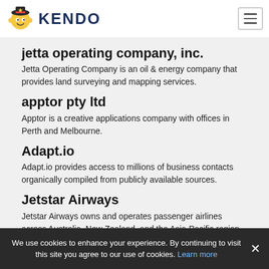[Figure (logo): Kendo logo with cartoon character mascot and bold KENDO text]
jetta operating company, inc.
Jetta Operating Company is an oil & energy company that provides land surveying and mapping services.
apptor pty ltd
Apptor is a creative applications company with offices in Perth and Melbourne.
Adapt.io
Adapt.io provides access to millions of business contacts organically compiled from publicly available sources.
Jetstar Airways
Jetstar Airways owns and operates passenger airlines across Australia, New Zealand, and the Asia-Pacific region.
We use cookies to enhance your experience. By continuing to visit this site you agree to our use of cookies. Learn more